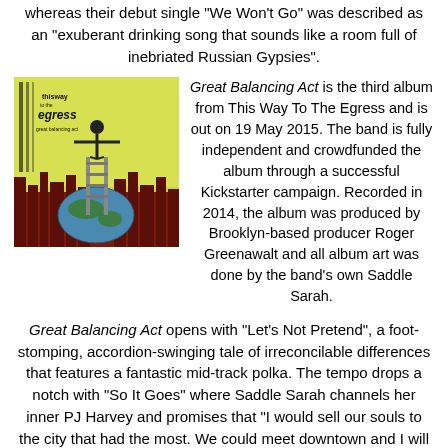whereas their debut single "We Won't Go" was described as an "exuberant drinking song that sounds like a room full of inebriated Russian Gypsies".
[Figure (illustration): Album cover for 'Great Balancing Act' by This Way To The Egress, showing a figure balancing on top of ladders on a globe with a cityscape background]
Great Balancing Act is the third album from This Way To The Egress and is out on 19 May 2015. The band is fully independent and crowdfunded the album through a successful Kickstarter campaign. Recorded in 2014, the album was produced by Brooklyn-based producer Roger Greenawalt and all album art was done by the band's own Saddle Sarah.
Great Balancing Act opens with "Let's Not Pretend", a foot-stomping, accordion-swinging tale of irreconcilable differences that features a fantastic mid-track polka. The tempo drops a notch with "So It Goes" where Saddle Sarah channels her inner PJ Harvey and promises that "I would sell our souls to the city that had the most. We could meet downtown and I will watch you drown more than your memories into your sauce".
Picking up the tempo again with "Earworm" and the dramatic vaudevillian "What Do Ya Want", the album tumbles into my